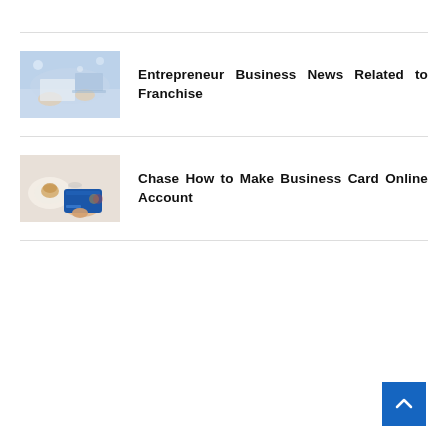[Figure (photo): Thumbnail photo of business meeting or office work scene with blurred background]
Entrepreneur Business News Related to Franchise
[Figure (photo): Thumbnail photo of hand holding a blue credit card over a table with a coffee cup]
Chase How to Make Business Card Online Account